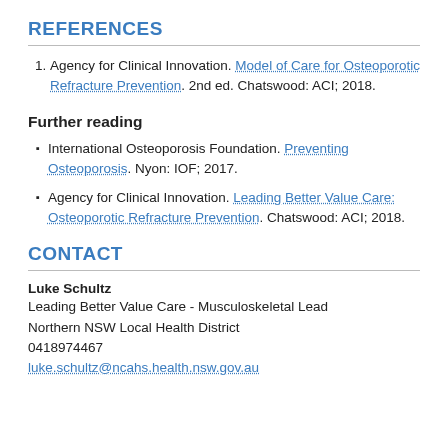REFERENCES
Agency for Clinical Innovation. Model of Care for Osteoporotic Refracture Prevention. 2nd ed. Chatswood: ACI; 2018.
Further reading
International Osteoporosis Foundation. Preventing Osteoporosis. Nyon: IOF; 2017.
Agency for Clinical Innovation. Leading Better Value Care: Osteoporotic Refracture Prevention. Chatswood: ACI; 2018.
CONTACT
Luke Schultz
Leading Better Value Care - Musculoskeletal Lead
Northern NSW Local Health District
0418974467
luke.schultz@ncahs.health.nsw.gov.au